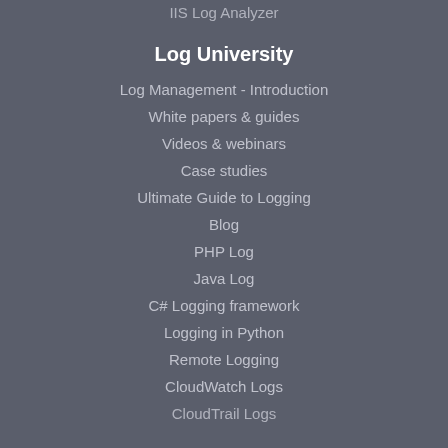IIS Log Analyzer
Log University
Log Management - Introduction
White papers & guides
Videos & webinars
Case studies
Ultimate Guide to Logging
Blog
PHP Log
Java Log
C# Logging framework
Logging in Python
Remote Logging
CloudWatch Logs
CloudTrail Logs